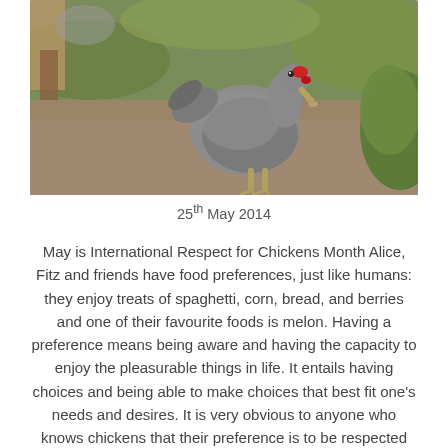[Figure (photo): A grey chicken pecking at the ground in a dirt yard with green grass and plants in the background. Another bird is partially visible in the upper left.]
25th May 2014
May is International Respect for Chickens Month Alice, Fitz and friends have food preferences, just like humans: they enjoy treats of spaghetti, corn, bread, and berries and one of their favourite foods is melon. Having a preference means being aware and having the capacity to enjoy the pleasurable things in life. It entails having choices and being able to make choices that best fit one’s needs and desires. It is very obvious to anyone who knows chickens that their preference is to be respected and liberated by humans. None of